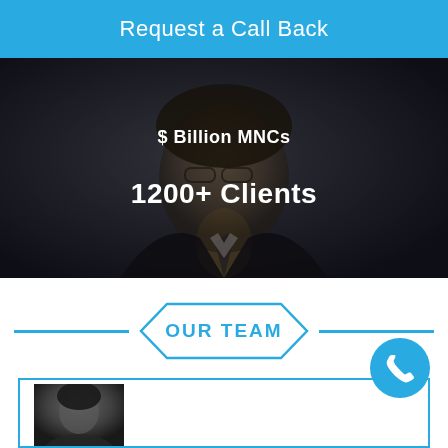Request a Call Back
$ Billion MNCs
1200+ Clients
OUR TEAM
[Figure (photo): Blue circular phone/call icon button]
[Figure (photo): Team member card with portrait photo, bordered in blue]